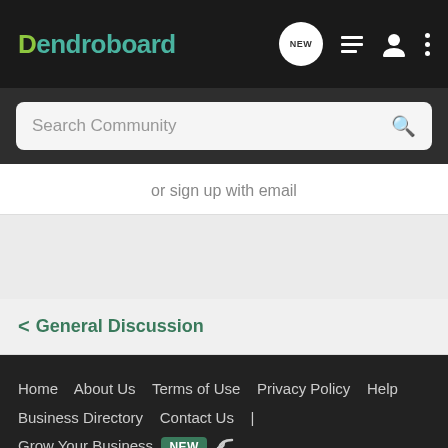Dendroboard
or sign up with email
< General Discussion
Home | About Us | Terms of Use | Privacy Policy | Help | Business Directory | Contact Us | Grow Your Business NEW [rss] VerticalScope Inc., 111 Peter Street, Suite 600, Toronto, Ontario, M5V 2H1, Canada The Fora platform includes forum software by XenForo